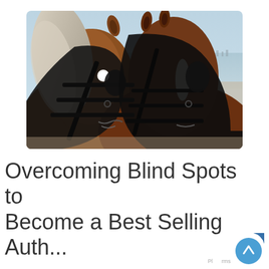[Figure (photo): Two draft horses wearing dark leather harnesses and blinkers, photographed close-up from the side. The left horse has a white/grey mane and the right horse is darker brown with a white blaze. Background shows a flat beach or estuary with water and pale sky, with distant buildings on the horizon.]
Overcoming Blind Spots to Become a Best Selling Author...